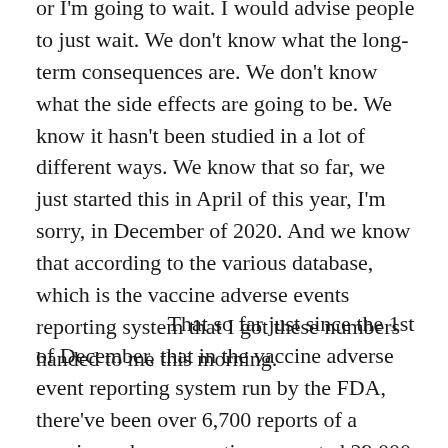or I'm going to wait. I would advise people to just wait. We don't know what the long-term consequences are. We don't know what the side effects are going to be. We know it hasn't been studied in a lot of different ways. We know that so far, we just started this in April of this year, I'm sorry, in December of 2020. And we know that according to the various database, which is the vaccine adverse events reporting system that I got these numbers handed to me this morning.
That so far just since the 1st of December, that in the vaccine adverse event reporting system run by the FDA, there've been over 6,700 reports of a vaccine, adverse reactions reported 29,000 different adverse events and 55 deaths from a vaccine that got released under emergency authorization with